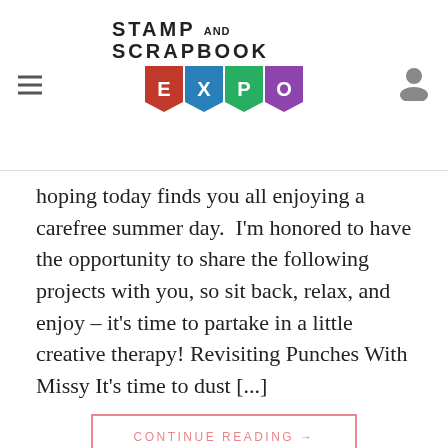Stamp and Scrapbook Expo
hoping today finds you all enjoying a carefree summer day.  I'm honored to have the opportunity to share the following projects with you, so sit back, relax, and enjoy – it's time to partake in a little creative therapy! Revisiting Punches With Missy It's time to dust [...]
CONTINUE READING →
Posted in At Home, Card Making, Designers, General Crafts, Manufacturers, Mini Albums, Paper Crafts, Recipes, Scrapbooking, Stamp & Scrapbook Expo, Stamping, Stamping Techniques, Sundays With Lorraine, Techniques | Tagged Bon Appetit Blog, Emboss Resist, In My Creative Opinion, k werner design, Kirsten Hyde, MFT Wonky Stitched Rectangle Die set, Mini album, My Craft And Garden Tales, recipe, Simon Says